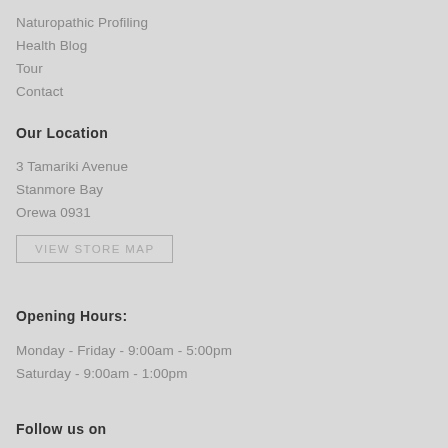Naturopathic Profiling
Health Blog
Tour
Contact
Our Location
3 Tamariki Avenue
Stanmore Bay
Orewa 0931
VIEW STORE MAP
Opening Hours:
Monday - Friday - 9:00am - 5:00pm
Saturday - 9:00am - 1:00pm
Follow us on
[Figure (illustration): Two circular social media icon buttons (Facebook and Instagram) in gray]